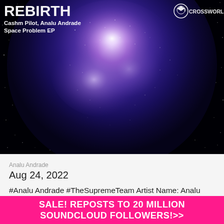[Figure (photo): Album artwork for 'Rebirth' by Cashm Pilot and Analu Andrade - Space Problem EP. Shows a circular galaxy/milky way image on a black starfield background. White text overlay shows artist names and album title. 1CROSSWORLD logo in top right.]
Analu Andrade
Aug 24, 2022
#Analu Andrade #TheSupremeTeam Artist Name: Analu Andrade Who are you? I'm a DJ and Producer, born and raised in São Paulo (Brazil)
SALE! REPOSTS TO 20 MILLION SOUNDCLOUD FOLLOWERS!>>